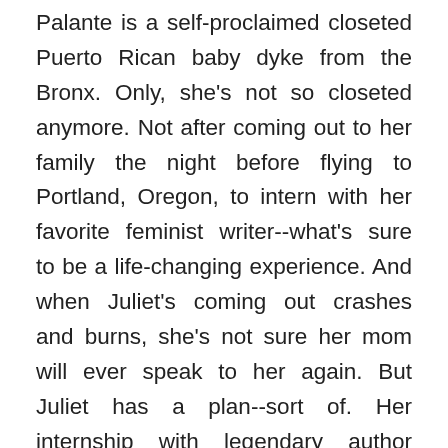Palante is a self-proclaimed closeted Puerto Rican baby dyke from the Bronx. Only, she's not so closeted anymore. Not after coming out to her family the night before flying to Portland, Oregon, to intern with her favorite feminist writer--what's sure to be a life-changing experience. And when Juliet's coming out crashes and burns, she's not sure her mom will ever speak to her again. But Juliet has a plan--sort of. Her internship with legendary author Harlowe Brisbane, the ultimate authority on feminism, women's bodies, and other gay-sounding stuff, is sure to help her figure out this whole "Puerto Rican lesbian" thing. Except Harlowe's white. And not from the Bronx. And she definitely doesn't have all the answers . . . In a summer bursting with queer brown dance